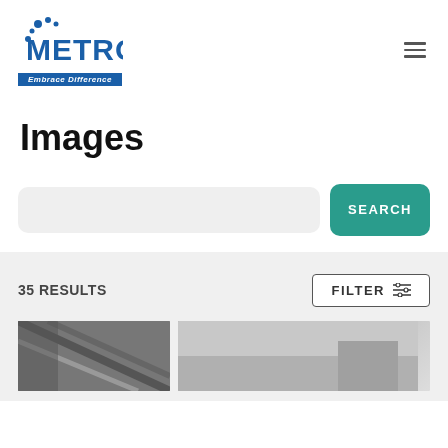[Figure (logo): Metro 'Embrace Difference' logo with blue dots and text, top left]
Images
[Figure (other): Search input field and teal SEARCH button]
35 RESULTS
[Figure (other): FILTER button with filter icon]
[Figure (photo): Two partial thumbnail images at the bottom of the page]